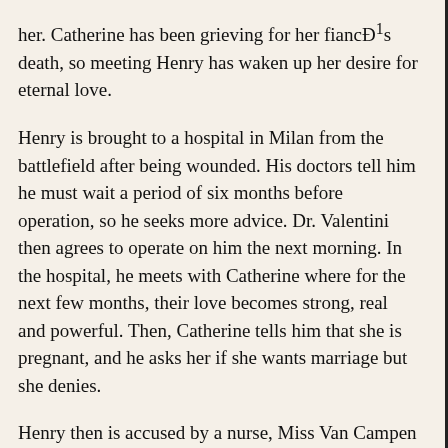her. Catherine has been grieving for her fiancé's death, so meeting Henry has waken up her desire for eternal love.
Henry is brought to a hospital in Milan from the battlefield after being wounded. His doctors tell him he must wait a period of six months before operation, so he seeks more advice. Dr. Valentini then agrees to operate on him the next morning. In the hospital, he meets with Catherine where for the next few months, their love becomes strong, real and powerful. Then, Catherine tells him that she is pregnant, and he asks her if she wants marriage but she denies.
Henry then is accused by a nurse, Miss Van Campen , that he has jaundice because of his excessive drinking to avoid being sent back to